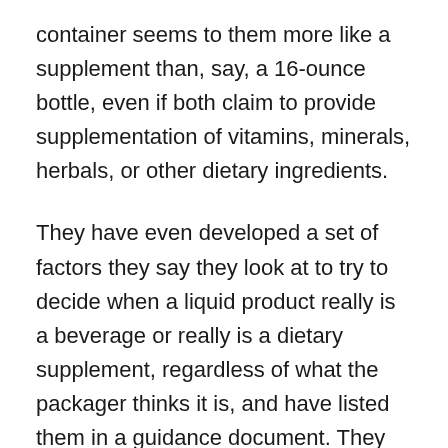container seems to them more like a supplement than, say, a 16-ounce bottle, even if both claim to provide supplementation of vitamins, minerals, herbals, or other dietary ingredients.
They have even developed a set of factors they say they look at to try to decide when a liquid product really is a beverage or really is a dietary supplement, regardless of what the packager thinks it is, and have listed them in a guidance document. They look at labeling, advertising and how the product's use is depicted, the suggested serving size, recommended daily intake, and directions for use. They look at the product name (if it's called a “beverage” or “drink” or “water,” it's not likely to be considered a supplement). They look at marketing practices, and the product's composition